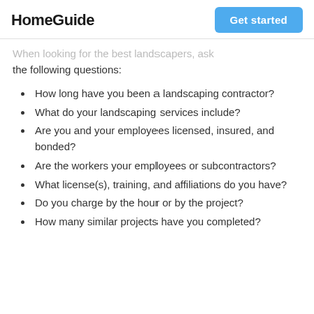HomeGuide | Get started
When looking for the best landscapers, ask the following questions:
How long have you been a landscaping contractor?
What do your landscaping services include?
Are you and your employees licensed, insured, and bonded?
Are the workers your employees or subcontractors?
What license(s), training, and affiliations do you have?
Do you charge by the hour or by the project?
How many similar projects have you completed?